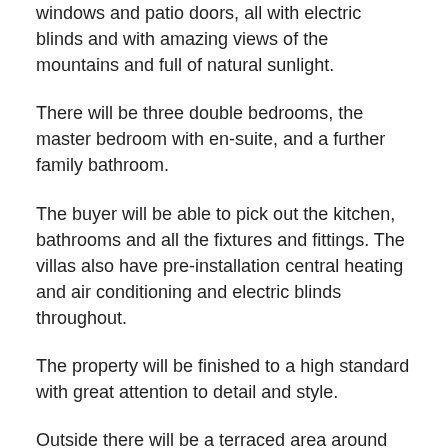windows and patio doors, all with electric blinds and with amazing views of the mountains and full of natural sunlight.
There will be three double bedrooms, the master bedroom with en-suite, and a further family bathroom.
The buyer will be able to pick out the kitchen, bathrooms and all the fixtures and fittings. The villas also have pre-installation central heating and air conditioning and electric blinds throughout.
The property will be finished to a high standard with great attention to detail and style.
Outside there will be a terraced area around the